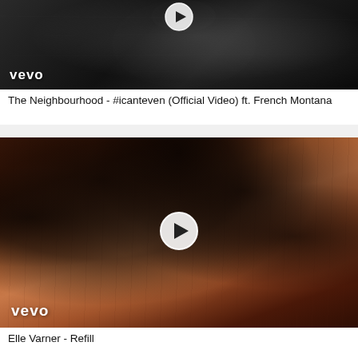[Figure (screenshot): Vevo music video thumbnail in black and white showing a person with a play button icon at top center, with 'vevo' watermark in bottom left. Video: The Neighbourhood - #icanteven (Official Video) ft. French Montana]
The Neighbourhood - #icanteven (Official Video) ft. French Montana
[Figure (screenshot): Vevo music video thumbnail showing a woman with large curly hair against a warm brown/wooden background, with a play button in the center and 'vevo' watermark in bottom left. Video: Elle Varner - Refill]
Elle Varner - Refill